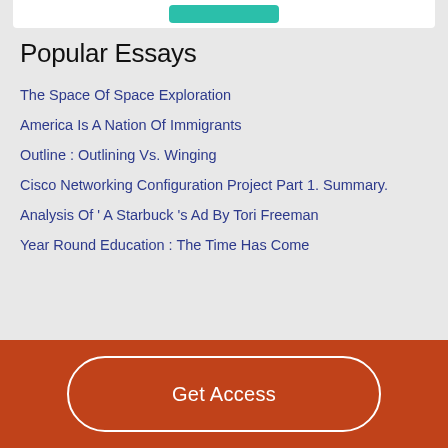Popular Essays
The Space Of Space Exploration
America Is A Nation Of Immigrants
Outline : Outlining Vs. Winging
Cisco Networking Configuration Project Part 1. Summary.
Analysis Of ' A Starbuck 's Ad By Tori Freeman
Year Round Education : The Time Has Come
Get Access